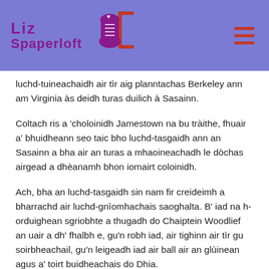Liz Spaperloft
luchd-tuineachaidh air tìr aig planntachas Berkeley ann am Virginia às deidh turas duilich à Sasainn.
Coltach ris a 'choloinidh Jamestown na bu tràithe, fhuair a' bhuidheann seo taic bho luchd-tasgaidh ann an Sasainn a bha air an turas a mhaoineachadh le dòchas airgead a dhèanamh bhon iomairt coloinidh.
Ach, bha an luchd-tasgaidh sin nam fir creideimh a bharrachd air luchd-gnìomhachais saoghalta. B' iad na h-orduighean sgriobhte a thugadh do Chaiptein Woodlief an uair a dh' fhalbh e, gu'n robh iad, air tighinn air tìr gu soirbheachail, gu'n leigeadh iad air ball air an glùinean agus a' toirt buidheachais do Dhia.